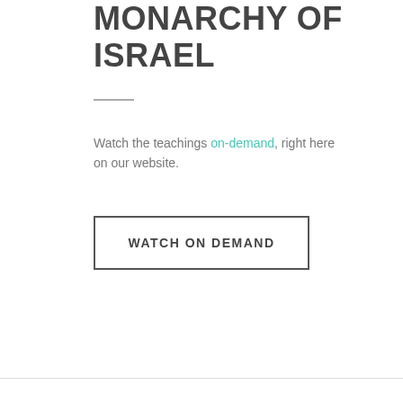MONARCHY OF ISRAEL
Watch the teachings on-demand, right here on our website.
WATCH ON DEMAND